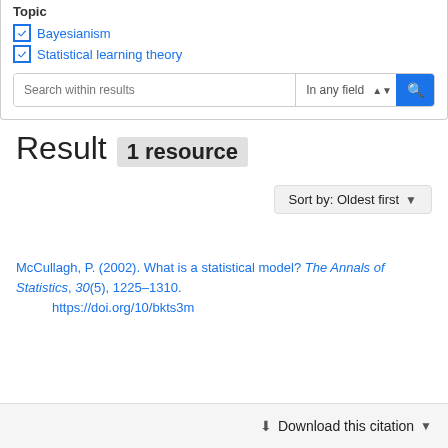☑ Bayesianism
☑ Statistical learning theory
[Figure (screenshot): Search within results input box with 'In any field' dropdown and blue search button]
Result   1 resource
Sort by: Oldest first ▼
McCullagh, P. (2002). What is a statistical model? The Annals of Statistics, 30(5), 1225–1310. https://doi.org/10/bkts3m
⬇ Download this citation ▼